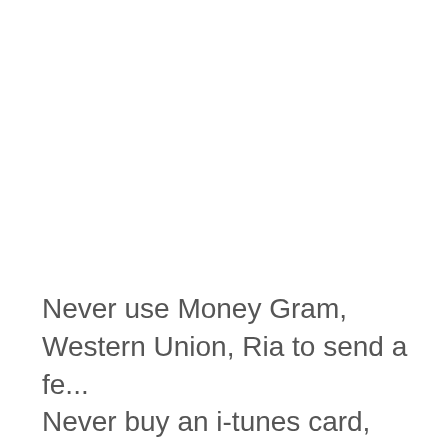Never use Money Gram, Western Union, Ria to send a fe... Never buy an i-tunes card, Amazon card steam wallet gift cards to send to scammers.Never use bitcoin and send th... to scammers. If you do, it is gone for ever. If you must ser... (please do not) When you use money gram, Western Uni... States is the control of the United States, and even if it is ... need to transfer to New York. Send the money to a US, U... South Africa bank account only. You could got your mono...